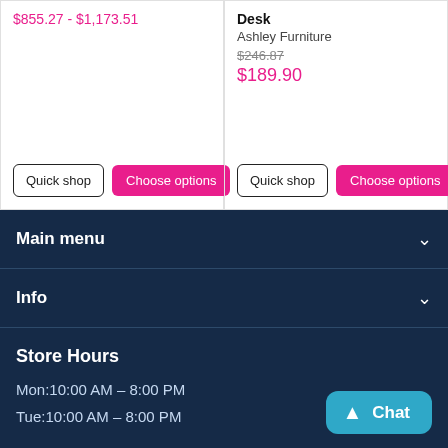$855.27 - $1,173.51
Desk
Ashley Furniture
$246.87
$189.90
Quick shop
Choose options
Quick shop
Choose options
Main menu
Info
Store Hours
Mon:10:00 AM – 8:00 PM
Tue:10:00 AM – 8:00 PM
Chat